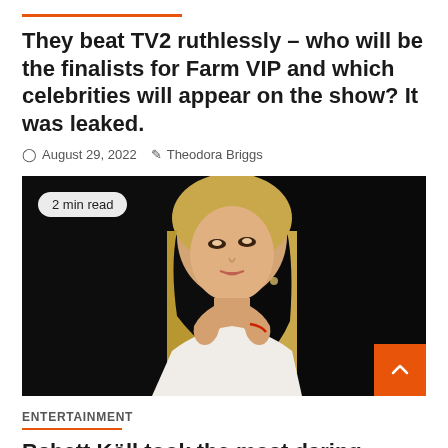They beat TV2 ruthlessly – who will be the finalists for Farm VIP and which celebrities will appear on the show? It was leaked.
August 29, 2022   Theodora Briggs
[Figure (photo): Blonde woman in white top posing against a black background, with a '2 min read' badge overlay in the top left corner]
ENTERTAINMENT
Babett Köll took the most daring photos of